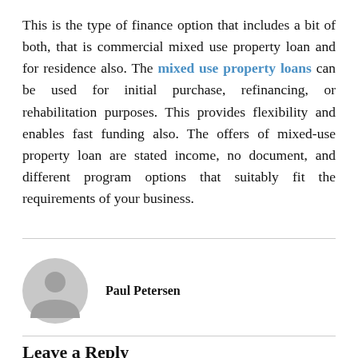This is the type of finance option that includes a bit of both, that is commercial mixed use property loan and for residence also. The mixed use property loans can be used for initial purchase, refinancing, or rehabilitation purposes. This provides flexibility and enables fast funding also. The offers of mixed-use property loan are stated income, no document, and different program options that suitably fit the requirements of your business.
[Figure (illustration): Circular user avatar placeholder — grey circle with a person/head silhouette]
Paul Petersen
Leave a Reply